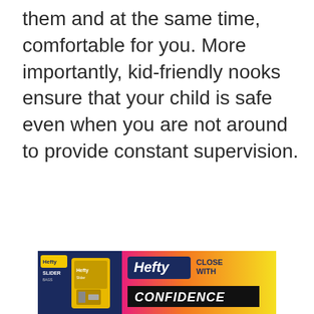them and at the same time, comfortable for you. More importantly, kid-friendly nooks ensure that your child is safe even when you are not around to provide constant supervision.
[Figure (infographic): Hefty Slider Bags advertisement banner. Shows Hefty brand logo on left with product image, and 'Hefty CLOSE WITH CONFIDENCE' text on right with yellow/orange/pink gradient background. Has a close/dismiss button (play triangle and X) in top right corner.]